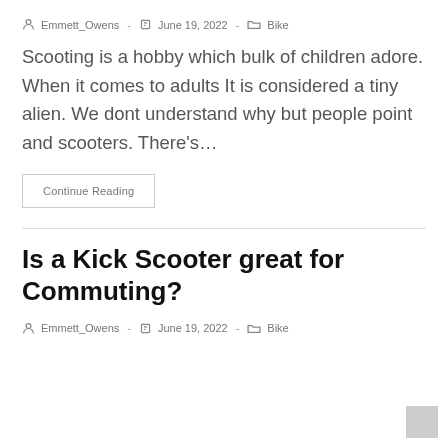Emmett_Owens · June 19, 2022 · Bike
Scooting is a hobby which bulk of children adore. When it comes to adults It is considered a tiny alien. We dont understand why but people point and scooters. There's…
Continue Reading
Is a Kick Scooter great for Commuting?
Emmett_Owens · June 19, 2022 · Bike